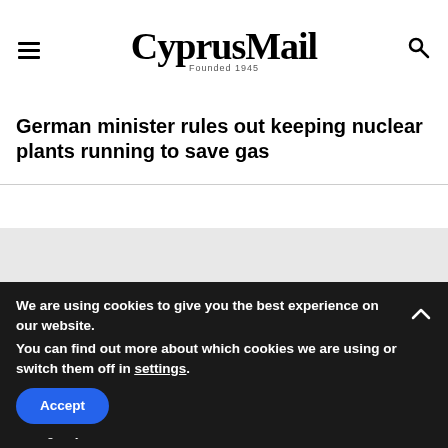CyprusMail Founded 1945
German minister rules out keeping nuclear plants running to save gas
INFORMATION DESK
Emergency & Medical Services
We are using cookies to give you the best experience on our website.
You can find out more about which cookies we are using or switch them off in settings.
Accept